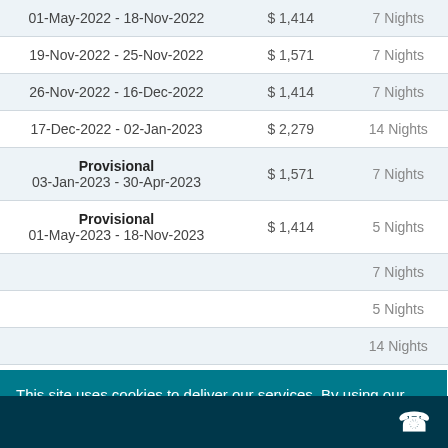| Date Range | Price | Min Stay |
| --- | --- | --- |
| 01-May-2022 - 18-Nov-2022 | $ 1,414 | 7 Nights |
| 19-Nov-2022 - 25-Nov-2022 | $ 1,571 | 7 Nights |
| 26-Nov-2022 - 16-Dec-2022 | $ 1,414 | 7 Nights |
| 17-Dec-2022 - 02-Jan-2023 | $ 2,279 | 14 Nights |
| Provisional
03-Jan-2023 - 30-Apr-2023 | $ 1,571 | 7 Nights |
| Provisional
01-May-2023 - 18-Nov-2023 | $ 1,414 | 5 Nights |
|  |  | 7 Nights |
|  |  | 5 Nights |
|  |  | 14 Nights |
This site uses cookies to deliver our services. By using our site, you acknowledge that you have read and understood our Cookie Policy, Privacy Policy and our Terms and Conditions. Your use of this website is subject to these policies and terms.